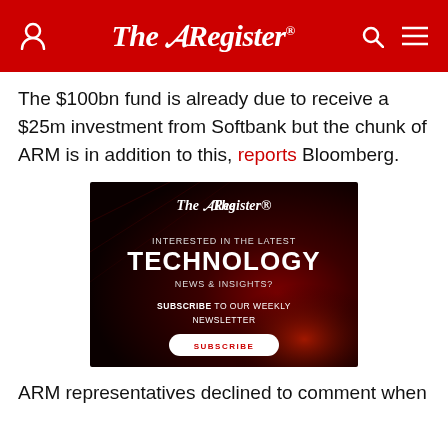The Register
The $100bn fund is already due to receive a $25m investment from Softbank but the chunk of ARM is in addition to this, reports Bloomberg.
[Figure (illustration): The Register advertisement banner with dark red background showing 'INTERESTED IN THE LATEST TECHNOLOGY NEWS & INSIGHTS? SUBSCRIBE TO OUR WEEKLY NEWSLETTER' with a subscribe button]
ARM representatives declined to comment when